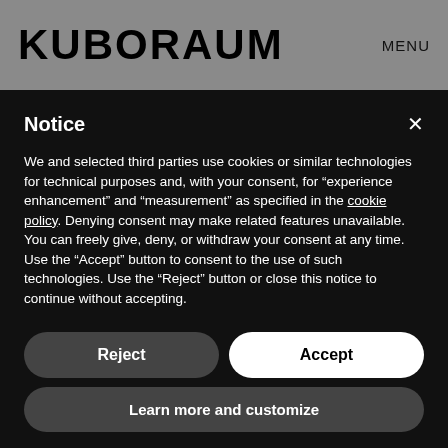KUBORAUM   MENU
Notice
We and selected third parties use cookies or similar technologies for technical purposes and, with your consent, for "experience enhancement" and "measurement" as specified in the cookie policy. Denying consent may make related features unavailable.
You can freely give, deny, or withdraw your consent at any time.
Use the "Accept" button to consent to the use of such technologies. Use the "Reject" button or close this notice to continue without accepting.
Reject
Accept
Learn more and customize